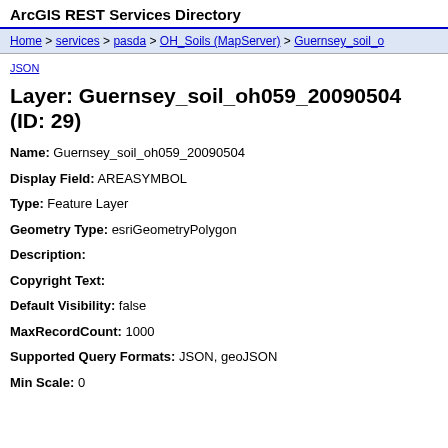ArcGIS REST Services Directory
Home > services > pasda > OH_Soils (MapServer) > Guernsey_soil_oh...
JSON
Layer: Guernsey_soil_oh059_20090504 (ID: 29)
Name: Guernsey_soil_oh059_20090504
Display Field: AREASYMBOL
Type: Feature Layer
Geometry Type: esriGeometryPolygon
Description:
Copyright Text:
Default Visibility: false
MaxRecordCount: 1000
Supported Query Formats: JSON, geoJSON
Min Scale: 0